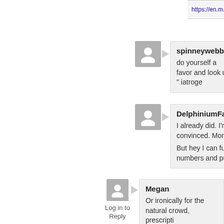https://en.m.wikipedia.org/wiki/Eosinophilia-
spinneywebber
do yourself a favor and look up " iatroge
DelphiniumFalcon
I already did. I'm not convinced. More p
But hey I can fudge numbers and pull sh
Megan
Or ironically for the natural crowd, prescripti
Nick Sanders
And even banned ones. Check out the l